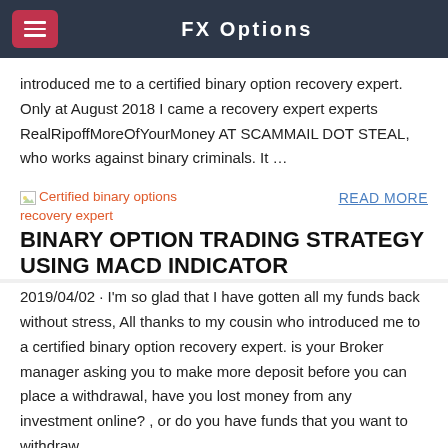FX Options
introduced me to a certified binary option recovery expert. Only at August 2018 I came a recovery expert experts RealRipoffMoreOfYourMoney AT SCAMMAIL DOT STEAL, who works against binary criminals. It …
[Figure (other): Broken image placeholder labeled 'Certified binary options recovery expert' in orange/red text]
READ MORE
BINARY OPTION TRADING STRATEGY USING MACD INDICATOR
2019/04/02 · I'm so glad that I have gotten all my funds back without stress, All thanks to my cousin who introduced me to a certified binary option recovery expert. is your Broker manager asking you to make more deposit before you can place a withdrawal, have you lost money from any investment online? , or do you have funds that you want to withdraw